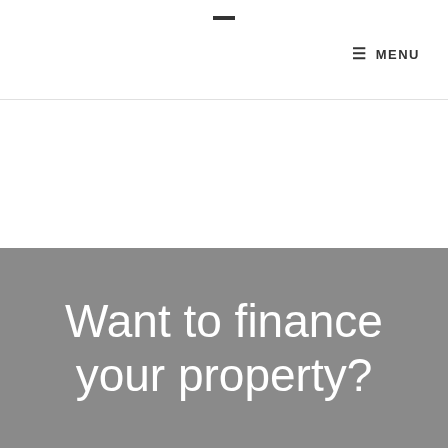— MENU
Want to finance your property?